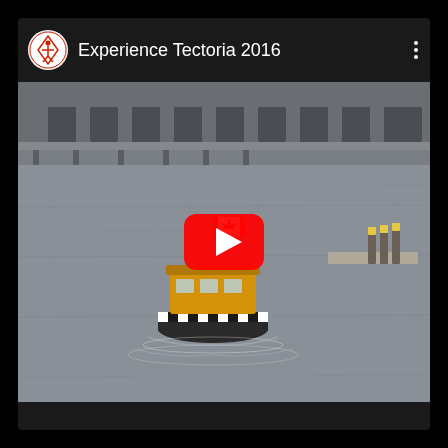[Figure (screenshot): YouTube video card showing 'Experience Tectoria 2016'. Top bar has a circular logo icon with a red geometric design, the channel title 'Experience Tectoria 2016', and a vertical three-dot menu. The video thumbnail shows a yellow water taxi boat with a Canadian flag sailing in a harbour, with a dock and industrial building in the background. A large red YouTube play button is overlaid in the center. Black bars at top and bottom frame the card.]